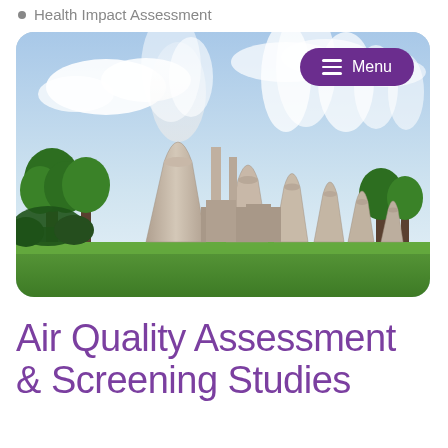Health Impact Assessment
[Figure (photo): Industrial power plant with large cooling towers emitting steam/smoke against a partly cloudy sky, with green trees and a green field in the foreground. A purple rounded menu button labeled 'Menu' appears in the top-right corner of the image.]
Air Quality Assessment & Screening Studies